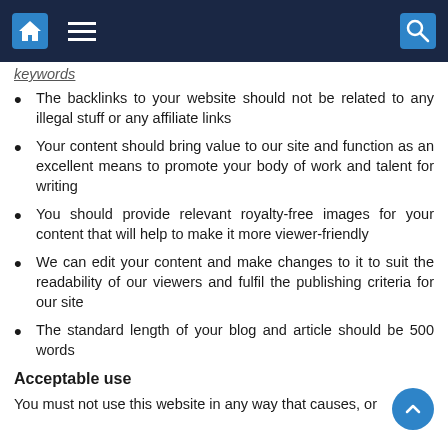Navigation bar with home, menu, and search icons
keywords
The backlinks to your website should not be related to any illegal stuff or any affiliate links
Your content should bring value to our site and function as an excellent means to promote your body of work and talent for writing
You should provide relevant royalty-free images for your content that will help to make it more viewer-friendly
We can edit your content and make changes to it to suit the readability of our viewers and fulfil the publishing criteria for our site
The standard length of your blog and article should be 500 words
Acceptable use
You must not use this website in any way that causes, or